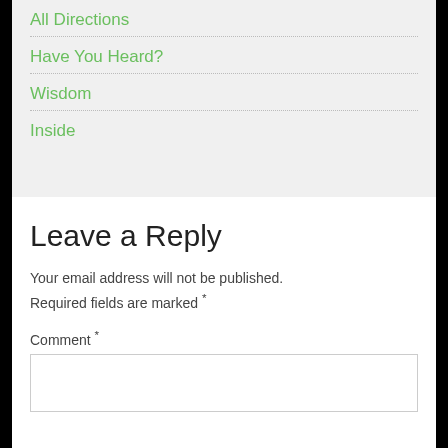All Directions
Have You Heard?
Wisdom
Inside
Leave a Reply
Your email address will not be published. Required fields are marked *
Comment *